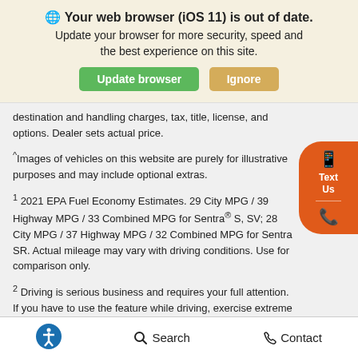🌐 Your web browser (iOS 11) is out of date. Update your browser for more security, speed and the best experience on this site.
destination and handling charges, tax, title, license, and options. Dealer sets actual price.
^Images of vehicles on this website are purely for illustrative purposes and may include optional extras.
1 2021 EPA Fuel Economy Estimates. 29 City MPG / 39 Highway MPG / 33 Combined MPG for Sentra® S, SV; 28 City MPG / 37 Highway MPG / 32 Combined MPG for Sentra SR. Actual mileage may vary with driving conditions. Use for comparison only.
2 Driving is serious business and requires your full attention. If you have to use the feature while driving, exercise extreme caution at all times so full attention may be given to vehicle operation.
3 Information displayed is dependent on how vehicle is equipped.
Search   Contact